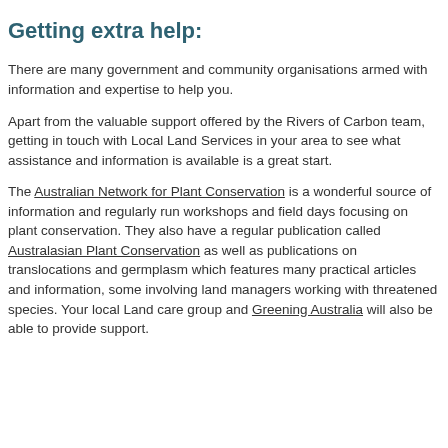Getting extra help:
There are many government and community organisations armed with information and expertise to help you.
Apart from the valuable support offered by the Rivers of Carbon team, getting in touch with Local Land Services in your area to see what assistance and information is available is a great start.
The Australian Network for Plant Conservation is a wonderful source of information and regularly run workshops and field days focusing on plant conservation. They also have a regular publication called Australasian Plant Conservation as well as publications on translocations and germplasm which features many practical articles and information, some involving land managers working with threatened species. Your local Land care group and Greening Australia will also be able to provide support.